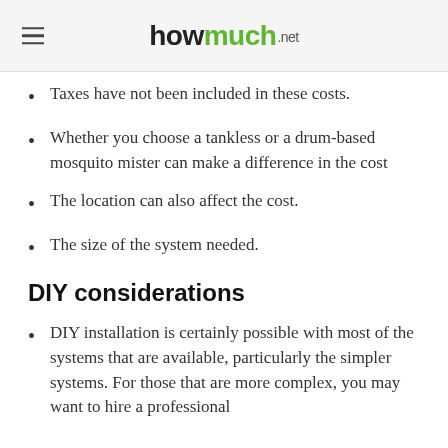howmuch.net
Taxes have not been included in these costs.
Whether you choose a tankless or a drum-based mosquito mister can make a difference in the cost
The location can also affect the cost.
The size of the system needed.
DIY considerations
DIY installation is certainly possible with most of the systems that are available, particularly the simpler systems. For those that are more complex, you may want to hire a professional